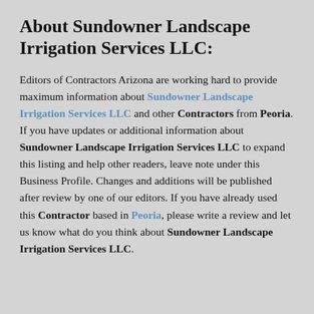About Sundowner Landscape Irrigation Services LLC:
Editors of Contractors Arizona are working hard to provide maximum information about Sundowner Landscape Irrigation Services LLC and other Contractors from Peoria. If you have updates or additional information about Sundowner Landscape Irrigation Services LLC to expand this listing and help other readers, leave note under this Business Profile. Changes and additions will be published after review by one of our editors. If you have already used this Contractor based in Peoria, please write a review and let us know what do you think about Sundowner Landscape Irrigation Services LLC.